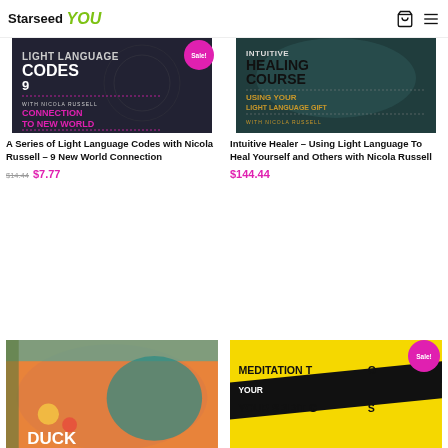Starseed YOU
[Figure (illustration): Light Language Codes – Connection To New World course cover, dark background with white bold text, pink 'CONNECTION TO NEW WORLD' text, with a Sale! badge]
A Series of Light Language Codes with Nicola Russell – 9 New World Connection
$14.44 $7.77
[Figure (illustration): Intuitive Healing Course – Using Your Light Language Gift with Nicola Russell, teal/dark cover]
Intuitive Healer – Using Light Language To Heal Yourself and Others with Nicola Russell
$144.44
[Figure (illustration): Duck book cover – colorful orange/teal with illustrated dragon/duck]
[Figure (illustration): Meditation to Your Spirit Guides – yellow/black cover, with Sale! badge]